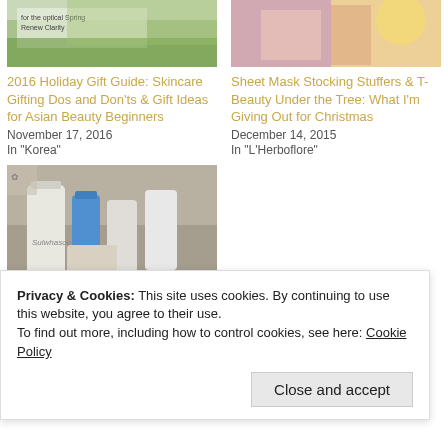[Figure (photo): Top left card image - plant/greenery background with text overlay]
2016 Holiday Gift Guide: Skincare Gifting Dos and Don'ts & Gift Ideas for Asian Beauty Beginners
November 17, 2016
In "Korea"
[Figure (photo): Top right card image - cosmetic products with warm light]
Sheet Mask Stocking Stuffers & T-Beauty Under the Tree: What I'm Giving Out for Christmas
December 14, 2015
In "L'Herboflore"
[Figure (photo): Bottom left card image - Sulwhasoo skincare products arranged together]
The Best and Worst Skincare I Used in 2016: A Holy Grail
Privacy & Cookies: This site uses cookies. By continuing to use this website, you agree to their use.
To find out more, including how to control cookies, see here: Cookie Policy
Close and accept